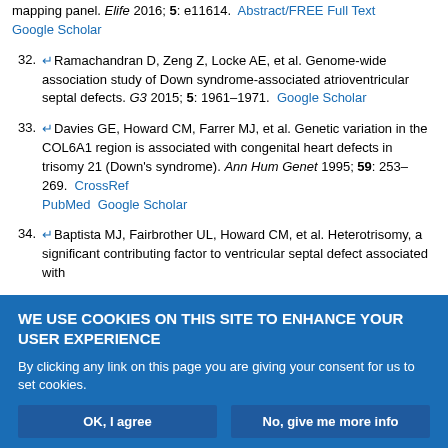Down syndrome-associated congenital heart defects using a new mouse mapping panel. Elife 2016; 5: e11614. Abstract/FREE Full Text Google Scholar
32. Ramachandran D, Zeng Z, Locke AE, et al. Genome-wide association study of Down syndrome-associated atrioventricular septal defects. G3 2015; 5: 1961–1971. Google Scholar
33. Davies GE, Howard CM, Farrer MJ, et al. Genetic variation in the COL6A1 region is associated with congenital heart defects in trisomy 21 (Down's syndrome). Ann Hum Genet 1995; 59: 253–269. CrossRef PubMed Google Scholar
34. Baptista MJ, Fairbrother UL, Howard CM, et al. Heterotrisomy, a significant contributing factor to ventricular septal defect associated with
WE USE COOKIES ON THIS SITE TO ENHANCE YOUR USER EXPERIENCE
By clicking any link on this page you are giving your consent for us to set cookies.